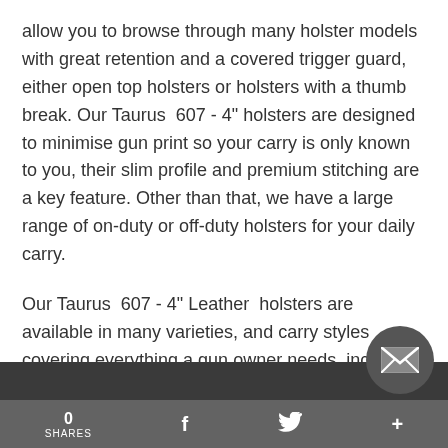allow you to browse through many holster models with great retention and a covered trigger guard, either open top holsters or holsters with a thumb break. Our Taurus  607 - 4" holsters are designed to minimise gun print so your carry is only known to you, their slim profile and premium stitching are a key feature. Other than that, we have a large range of on-duty or off-duty holsters for your daily carry.
Our Taurus  607 - 4" Leather  holsters are available in many varieties, and carry styles covering everything a gun owner needs, including SALE, IWB, OWB, Ankle, Appendix, Concealed Carry, Cross Draw, Drop Leg, Duty, Light & Laser Bearing, Paddle, Red Dot Sight, Shoulder, Small Of Back, Speedloader, Other (Molle, Pocket, ...) holster desig...
0  SHARES  f  [twitter]  +